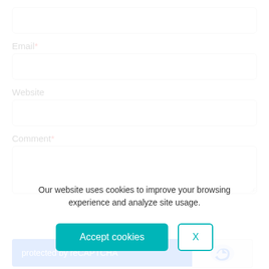(first input field, no label visible — top of page)
Email*
Website
Comment*
[Figure (other): reCAPTCHA widget showing 'protected by reCAPTCHA' text on blue background with reCAPTCHA logo]
Our website uses cookies to improve your browsing experience and analyze site usage.
Accept cookies
X